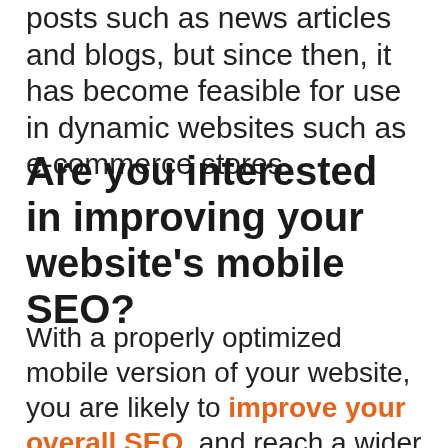posts such as news articles and blogs, but since then, it has become feasible for use in dynamic websites such as e-commerce stores.
Are you interested in improving your website's mobile SEO?
With a properly optimized mobile version of your website, you are likely to improve your overall SEO, and reach a wider audience. If you would like to find out more about what that entails, or improve your